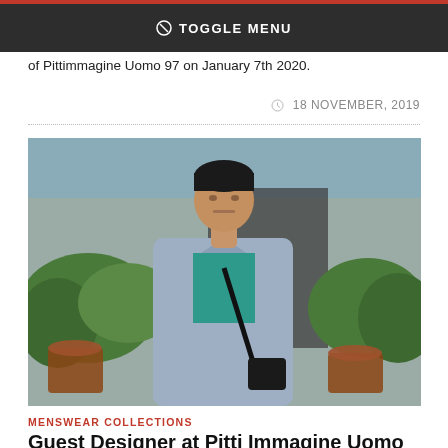TOGGLE MENU
of Pittimmagine Uomo 97 on January 7th 2020.
18 NOVEMBER, 2019
[Figure (photo): Male model wearing a light blue/grey oversized blazer over a teal crewneck sweater with a black crossbody bag, photographed outdoors with green foliage in the background.]
MENSWEAR COLLECTIONS
Guest Designer at Pitti Immagine Uomo 96 - Givenchy